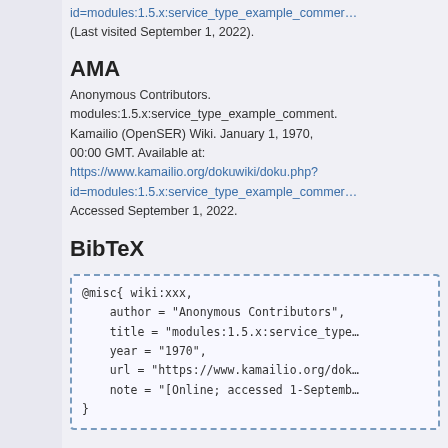id=modules:1.5.x:service_type_example_comment (Last visited September 1, 2022).
AMA
Anonymous Contributors. modules:1.5.x:service_type_example_comment. Kamailio (OpenSER) Wiki. January 1, 1970, 00:00 GMT. Available at: https://www.kamailio.org/dokuwiki/doku.php?id=modules:1.5.x:service_type_example_comment. Accessed September 1, 2022.
BibTeX
@misc{ wiki:xxx,
    author = "Anonymous Contributors",
    title = "modules:1.5.x:service_type
    year = "1970",
    url = "https://www.kamailio.org/dok
    note = "[Online; accessed 1-Septemb
}
When using the LaTeX package url (\usepackage{url} somewhere in the preamble), which tends to give much more nicely